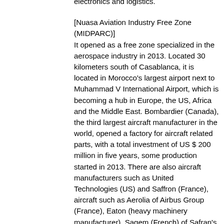electronics and logistics.
[Nuasa Aviation Industry Free Zone (MIDPARC)]
It opened as a free zone specialized in the aerospace industry in 2013. Located 30 kilometers south of Casablanca, it is located in Morocco's largest airport next to Muhammad V International Airport, which is becoming a hub in Europe, the US, Africa and the Middle East. Bombardier (Canada), the third largest aircraft manufacturer in the world, opened a factory for aircraft related parts, with a total investment of US $ 200 million in five years, some production started in 2013. There are also aircraft manufacturers such as United Technologies (US) and Saffron (France), aircraft such as Aerolia of Airbus Group (France), Eaton (heavy machinery manufacturer), Sagem (French) of Safran's electronic equipment manufacturer Manufacturers of parts are expanding a lot.